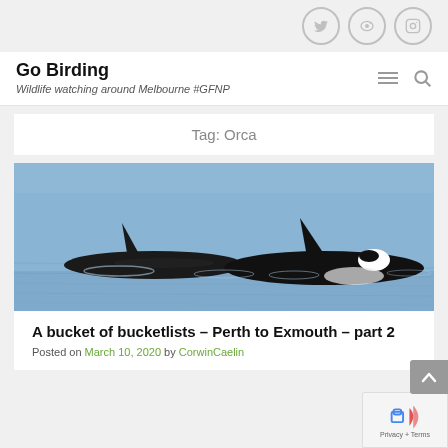Go Birding – Wildlife watching around Melbourne #GFNP
Tag: Orca
[Figure (photo): Two orca (killer whales) swimming at the surface of calm blue water, showing their dorsal fins. One orca on the right shows the distinctive black and white coloring.]
A bucket of bucketlists – Perth to Exmouth – part 2
Posted on March 10, 2020 by CorwinCaelin